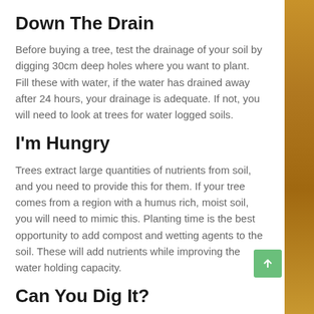Down The Drain
Before buying a tree, test the drainage of your soil by digging 30cm deep holes where you want to plant. Fill these with water, if the water has drained away after 24 hours, your drainage is adequate. If not, you will need to look at trees for water logged soils.
I'm Hungry
Trees extract large quantities of nutrients from soil, and you need to provide this for them. If your tree comes from a region with a humus rich, moist soil, you will need to mimic this. Planting time is the best opportunity to add compost and wetting agents to the soil. These will add nutrients while improving the water holding capacity.
Can You Dig It?